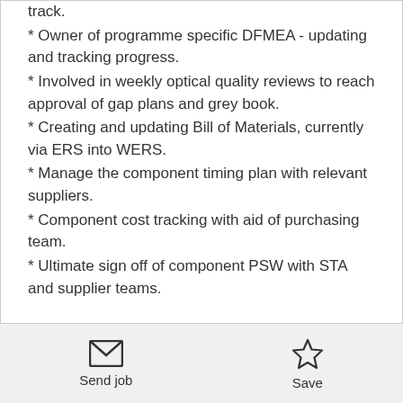track.
* Owner of programme specific DFMEA - updating and tracking progress.
* Involved in weekly optical quality reviews to reach approval of gap plans and grey book.
* Creating and updating Bill of Materials, currently via ERS into WERS.
* Manage the component timing plan with relevant suppliers.
* Component cost tracking with aid of purchasing team.
* Ultimate sign off of component PSW with STA and supplier teams.
Send job   Save